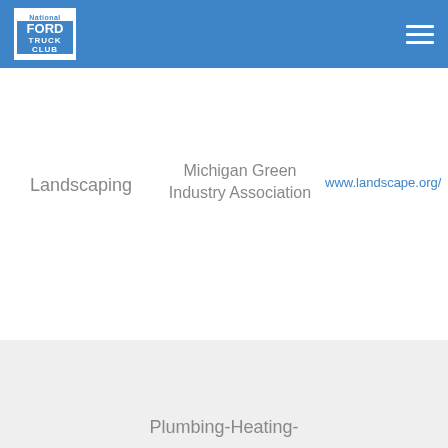National Ford Truck Club
Landscaping
Michigan Green Industry Association
www.landscape.org/
Plumbing-Heating-